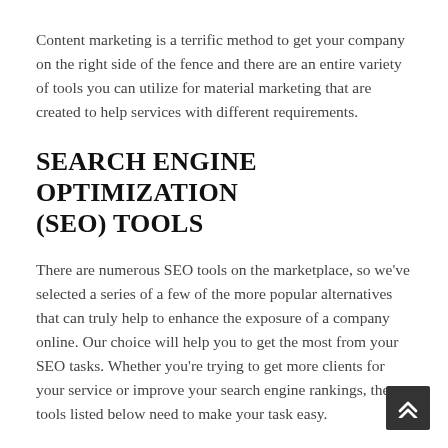Content marketing is a terrific method to get your company on the right side of the fence and there are an entire variety of tools you can utilize for material marketing that are created to help services with different requirements.
SEARCH ENGINE OPTIMIZATION (SEO) TOOLS
There are numerous SEO tools on the marketplace, so we've selected a series of a few of the more popular alternatives that can truly help to enhance the exposure of a company online. Our choice will help you to get the most from your SEO tasks. Whether you're trying to get more clients for your service or improve your search engine rankings, the tools listed below need to make your task easy.